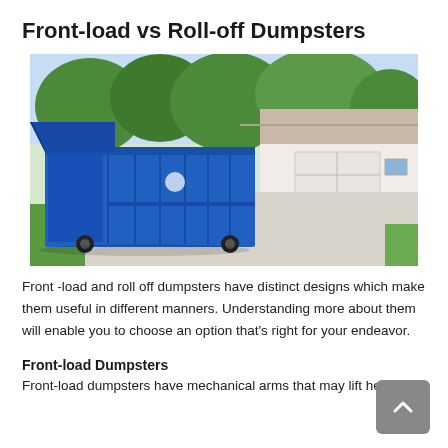Front-load vs Roll-off Dumpsters
[Figure (photo): A large blue roll-off dumpster parked in a residential driveway in front of a house with a white garage door and green trees in the background.]
Front -load and roll off dumpsters have distinct designs which make them useful in different manners. Understanding more about them will enable you to choose an option that's right for your endeavor.
Front-load Dumpsters
Front-load dumpsters have mechanical arms that may lift heavy